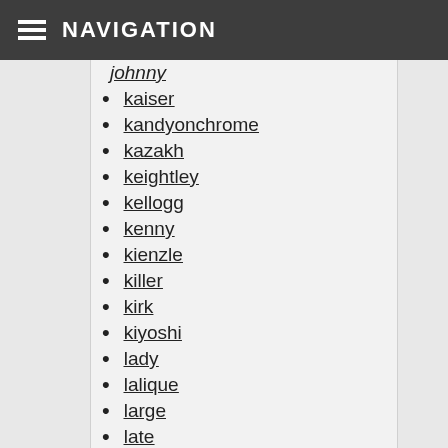NAVIGATION
johnny
kaiser
kandyonchrome
kazakh
keightley
kellogg
kenny
kienzle
killer
kirk
kiyoshi
lady
lalique
large
late
learning
lesser